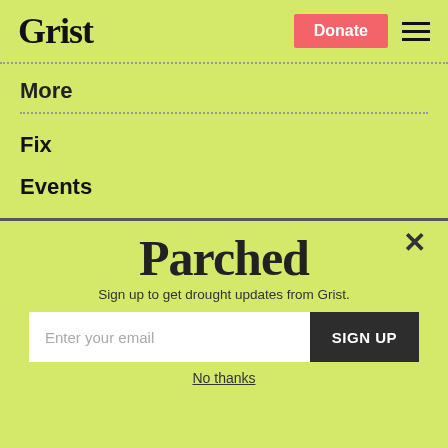Grist
More
Fix
Events
Visionaries Bureau
Become a Member
Advertising
[Figure (screenshot): Parched newsletter signup popup overlay with email input field and SIGN UP button]
Sign up to get drought updates from Grist.
No thanks